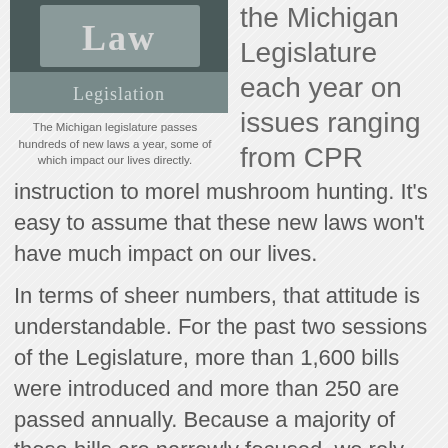[Figure (photo): Image of a book or sign with the word 'Law' and 'Legislation' printed on it, with a dark teal/grey color scheme]
The Michigan legislature passes hundreds of new laws a year, some of which impact our lives directly.
produced by the Michigan Legislature each year on issues ranging from CPR instruction to morel mushroom hunting. It's easy to assume that these new laws won't have much impact on our lives.
In terms of sheer numbers, that attitude is understandable. For the past two sessions of the Legislature, more than 1,600 bills were introduced and more than 250 are passed annually. Because a majority of those bills are narrowly focused, we rely on the media to inform us about the few new laws dealing with hot button issues that impact us all.